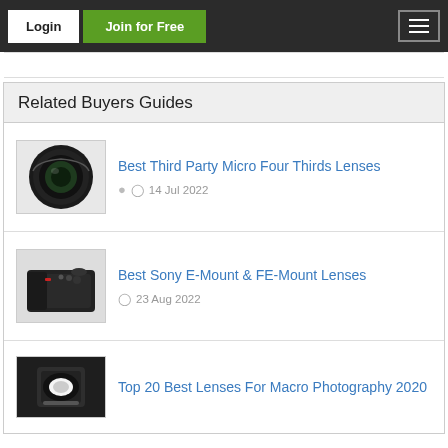Login | Join for Free
Related Buyers Guides
[Figure (photo): Camera lens (black) for Best Third Party Micro Four Thirds Lenses guide]
Best Third Party Micro Four Thirds Lenses
14 Jul 2022
[Figure (photo): Sony camera body for Best Sony E-Mount & FE-Mount Lenses guide]
Best Sony E-Mount & FE-Mount Lenses
23 Aug 2022
[Figure (photo): Macro lens for Top 20 Best Lenses For Macro Photography 2020]
Top 20 Best Lenses For Macro Photography 2020